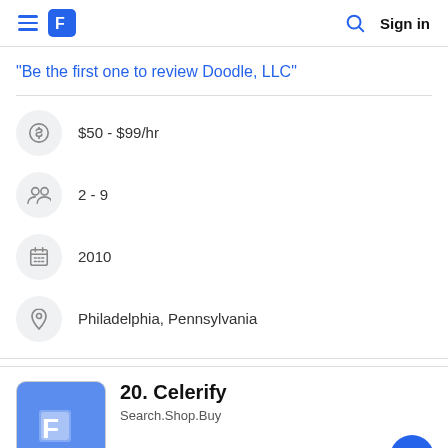Celerify — Sign in
"Be the first one to review Doodle, LLC"
$50 - $99/hr
2 - 9
2010
Philadelphia, Pennsylvania
20. Celerify
Search.Shop.Buy